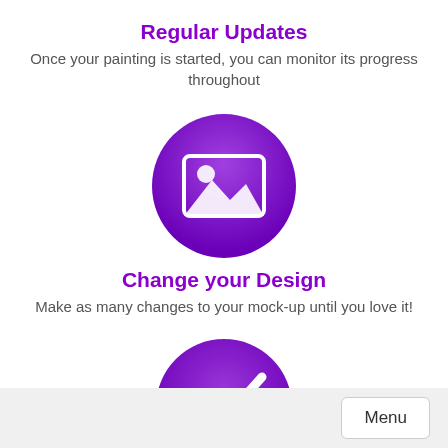Regular Updates
Once your painting is started, you can monitor its progress throughout
[Figure (illustration): Purple gradient circle containing a white image/landscape placeholder icon with mountains and sun]
Change your Design
Make as many changes to your mock-up until you love it!
[Figure (illustration): Purple gradient circle containing a white checkmark icon]
Menu